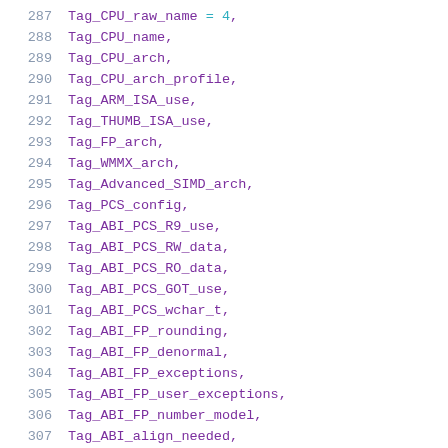287    Tag_CPU_raw_name = 4,
288    Tag_CPU_name,
289    Tag_CPU_arch,
290    Tag_CPU_arch_profile,
291    Tag_ARM_ISA_use,
292    Tag_THUMB_ISA_use,
293    Tag_FP_arch,
294    Tag_WMMX_arch,
295    Tag_Advanced_SIMD_arch,
296    Tag_PCS_config,
297    Tag_ABI_PCS_R9_use,
298    Tag_ABI_PCS_RW_data,
299    Tag_ABI_PCS_RO_data,
300    Tag_ABI_PCS_GOT_use,
301    Tag_ABI_PCS_wchar_t,
302    Tag_ABI_FP_rounding,
303    Tag_ABI_FP_denormal,
304    Tag_ABI_FP_exceptions,
305    Tag_ABI_FP_user_exceptions,
306    Tag_ABI_FP_number_model,
307    Tag_ABI_align_needed,